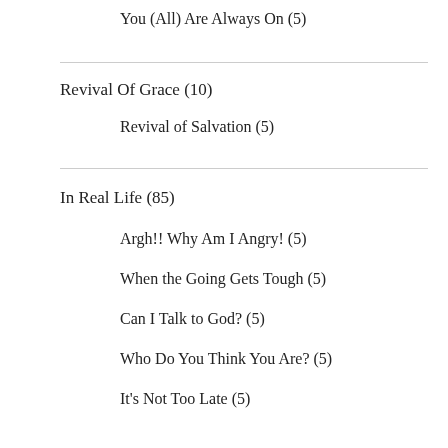You (All) Are Always On (5)
Revival Of Grace (10)
Revival of Salvation (5)
In Real Life (85)
Argh!! Why Am I Angry! (5)
When the Going Gets Tough (5)
Can I Talk to God? (5)
Who Do You Think You Are? (5)
It's Not Too Late (5)
Watch Your Mouth! (5)
Mind Games (5)
Stressed Out! (5)